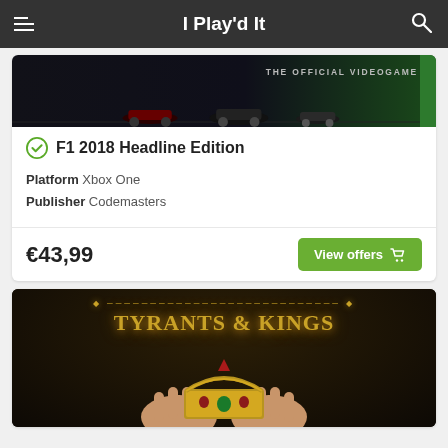I Play'd It
[Figure (screenshot): F1 2018 game banner showing dark background with 'THE OFFICIAL VIDEOGAME' text and car silhouettes, with green stripe on right]
F1 2018 Headline Edition
Platform Xbox One
Publisher Codemasters
€43,99
[Figure (screenshot): Tyrants & Kings game banner showing ornate golden crown being held by hands against dark background]